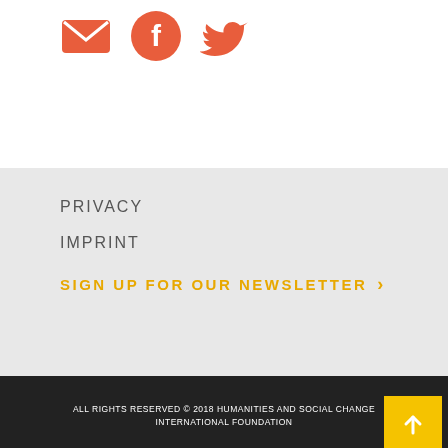[Figure (illustration): Three social media icons in coral/orange-red color: email envelope, Facebook 'f', and Twitter bird]
PRIVACY
IMPRINT
SIGN UP FOR OUR NEWSLETTER ›
ALL RIGHTS RESERVED © 2018 HUMANITIES AND SOCIAL CHANGE INTERNATIONAL FOUNDATION